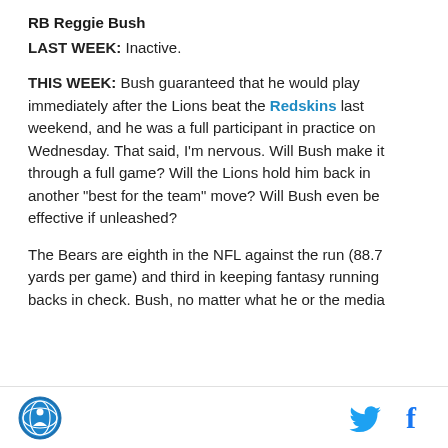RB Reggie Bush
LAST WEEK: Inactive.
THIS WEEK: Bush guaranteed that he would play immediately after the Lions beat the Redskins last weekend, and he was a full participant in practice on Wednesday. That said, I'm nervous. Will Bush make it through a full game? Will the Lions hold him back in another "best for the team" move? Will Bush even be effective if unleashed?
The Bears are eighth in the NFL against the run (88.7 yards per game) and third in keeping fantasy running backs in check. Bush, no matter what he or the media